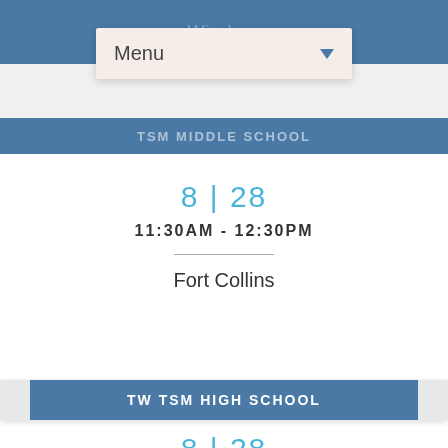Windsor
Menu
TSM MIDDLE SCHOOL
8 | 28
11:30AM - 12:30PM
Fort Collins
TW TSM HIGH SCHOOL
8 | 28
6:30PM - 8:15PM
Windsor